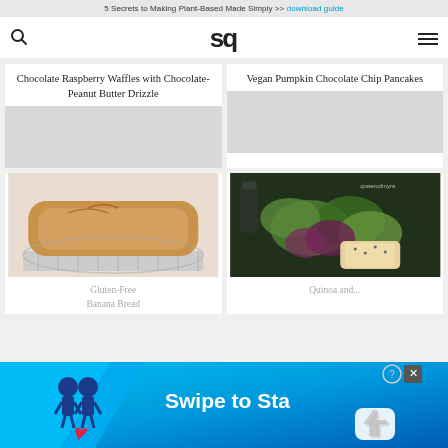5 Secrets to Making Plant-Based Made Simply >> download guide
[Figure (logo): SQ logo — stylized 'sq' in bold sans-serif]
Chocolate Raspberry Waffles with Chocolate-Peanut Butter Drizzle
Vegan Pumpkin Chocolate Chip Pancakes
[Figure (photo): Photo of a loaf of gluten-free bread on a cooling rack]
[Figure (photo): Photo of a quinoa and greens salad dish]
Gluten-Free Banana Bread
Quinoa and...
[Figure (screenshot): Ad banner: Swipe to Start promotional advertisement with blue gradient background, character mascots, and a hand cursor icon]